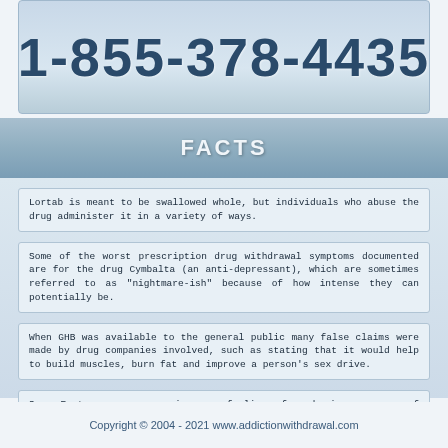[Figure (infographic): Phone number banner showing 1-855-378-4435 on a light blue gradient background]
FACTS
Lortab is meant to be swallowed whole, but individuals who abuse the drug administer it in a variety of ways.
Some of the worst prescription drug withdrawal symptoms documented are for the drug Cymbalta (an anti-depressant), which are sometimes referred to as "nightmare-ish" because of how intense they can potentially be.
When GHB was available to the general public many false claims were made by drug companies involved, such as stating that it would help to build muscles, burn fat and improve a person’s sex drive.
Some Ecstasy users experience a feeling of euphoria, a sense of intimacy with others, and diminished anxiety.
Copyright © 2004 - 2021 www.addictionwithdrawal.com